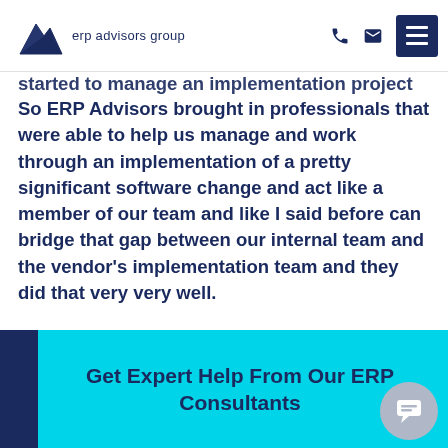erp advisors group
started to manage an implementation project like this. So ERP Advisors brought in professionals that were able to help us manage and work through an implementation of a pretty significant software change and act like a member of our team and like I said before can bridge that gap between our internal team and the vendor's implementation team and they did that very very well.
Get Expert Help From Our ERP Consultants